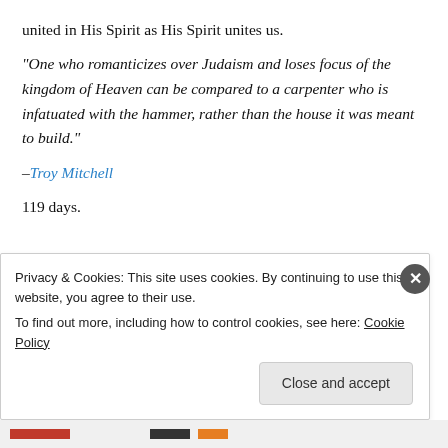united in His Spirit as His Spirit unites us.
“One who romanticizes over Judaism and loses focus of the kingdom of Heaven can be compared to a carpenter who is infatuated with the hammer, rather than the house it was meant to build.”
–Troy Mitchell
119 days.
May 29, 2013   1 Reply
Privacy & Cookies: This site uses cookies. By continuing to use this website, you agree to their use.
To find out more, including how to control cookies, see here: Cookie Policy
Close and accept